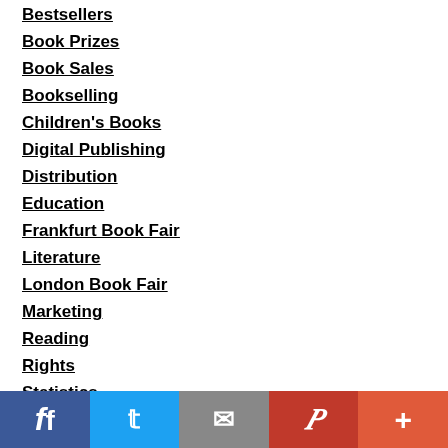Bestsellers
Book Prizes
Book Sales
Bookselling
Children's Books
Digital Publishing
Distribution
Education
Frankfurt Book Fair
Literature
London Book Fair
Marketing
Reading
Rights
Statistics
Translation
Writing